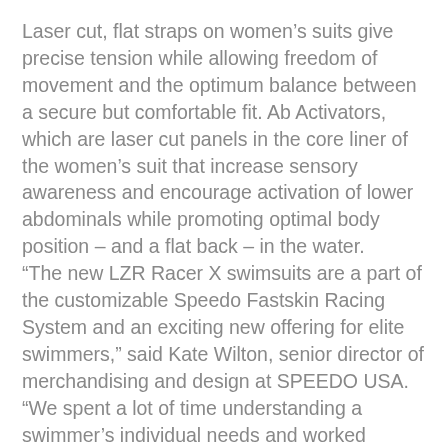Laser cut, flat straps on women’s suits give precise tension while allowing freedom of movement and the optimum balance between a secure but comfortable fit. Ab Activators, which are laser cut panels in the core liner of the women’s suit that increase sensory awareness and encourage activation of lower abdominals while promoting optimal body position – and a flat back – in the water. “The new LZR Racer X swimsuits are a part of the customizable Speedo Fastskin Racing System and an exciting new offering for elite swimmers,” said Kate Wilton, senior director of merchandising and design at SPEEDO USA. “We spent a lot of time understanding a swimmer’s individual needs and worked closely with our athletes throughout the suit development process to ensure that the LZR Racer X would provide swimmers everything they need to feel their fastest.”
More than 330 elite swimmers and 20 swimming experts from 26 countries contributed to the creation of the new Speedo Fastskin LZR Racer X by wear testing the suit at various stages throughout the development process and sharing their feedback.